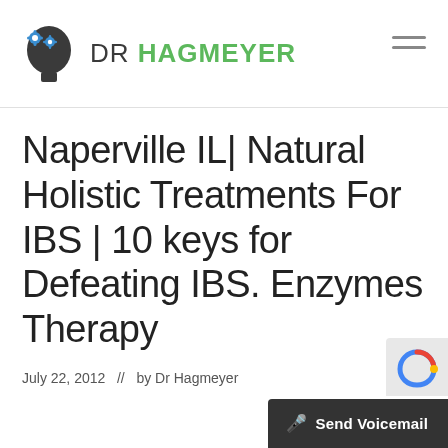DR HAGMEYER
Naperville IL| Natural Holistic Treatments For IBS | 10 keys for Defeating IBS. Enzymes Therapy
July 22, 2012  //  by Dr Hagmeyer